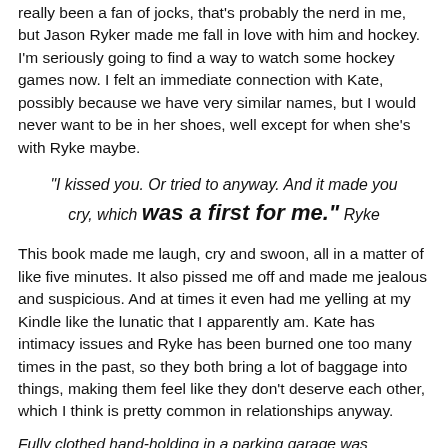really been a fan of jocks, that's probably the nerd in me, but Jason Ryker made me fall in love with him and hockey. I'm seriously going to find a way to watch some hockey games now. I felt an immediate connection with Kate, possibly because we have very similar names, but I would never want to be in her shoes, well except for when she's with Ryke maybe.
"I kissed you. Or tried to anyway. And it made you cry, which was a first for me." Ryke
This book made me laugh, cry and swoon, all in a matter of like five minutes. It also pissed me off and made me jealous and suspicious. And at times it even had me yelling at my Kindle like the lunatic that I apparently am. Kate has intimacy issues and Ryke has been burned one too many times in the past, so they both bring a lot of baggage into things, making them feel like they don't deserve each other, which I think is pretty common in relationships anyway.
Fully clothed hand-holding in a parking garage was